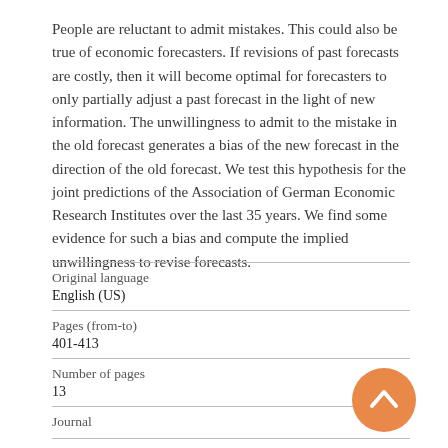People are reluctant to admit mistakes. This could also be true of economic forecasters. If revisions of past forecasts are costly, then it will become optimal for forecasters to only partially adjust a past forecast in the light of new information. The unwillingness to admit to the mistake in the old forecast generates a bias of the new forecast in the direction of the old forecast. We test this hypothesis for the joint predictions of the Association of German Economic Research Institutes over the last 35 years. We find some evidence for such a bias and compute the implied unwillingness to revise forecasts.
| Field | Value |
| --- | --- |
| Original language | English (US) |
| Pages (from-to) | 401-413 |
| Number of pages | 13 |
| Journal |  |